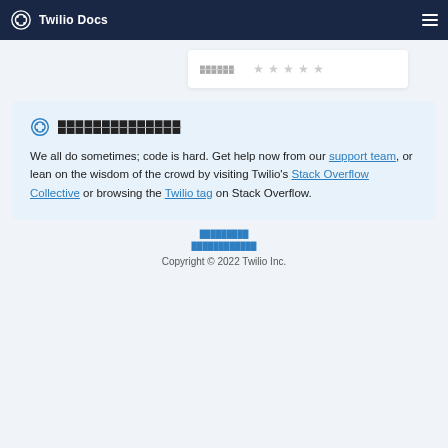Twilio Docs
██████  ★ ★ ★ ★ ★
██████████████
We all do sometimes; code is hard. Get help now from our support team, or lean on the wisdom of the crowd by visiting Twilio's Stack Overflow Collective or browsing the Twilio tag on Stack Overflow.
█████████
████████████
Copyright © 2022 Twilio Inc.